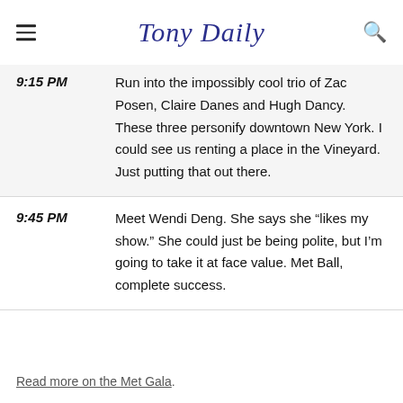Tony Daily
9:15 PM — Run into the impossibly cool trio of Zac Posen, Claire Danes and Hugh Dancy. These three personify downtown New York. I could see us renting a place in the Vineyard. Just putting that out there.
9:45 PM — Meet Wendi Deng. She says she “likes my show.” She could just be being polite, but I’m going to take it at face value. Met Ball, complete success.
Read more on the Met Gala.